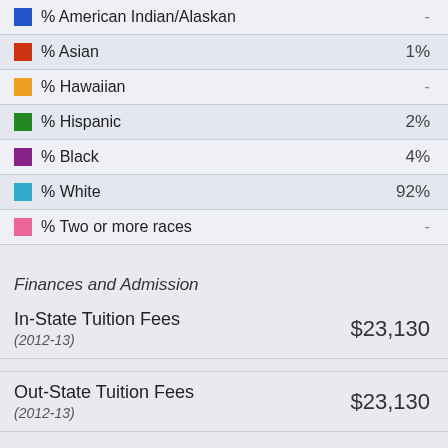% American Indian/Alaskan -
% Asian 1%
% Hawaiian -
% Hispanic 2%
% Black 4%
% White 92%
% Two or more races -
Finances and Admission
In-State Tuition Fees (2012-13) $23,130
Out-State Tuition Fees (2012-13) $23,130